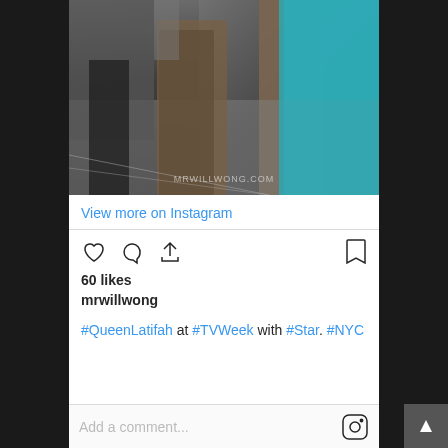[Figure (photo): Street photo of person walking, with watermark MRWILLWONG.COM at bottom. Shows person in black outfit with brown vest/coat, teal clothing visible on right side, crowd in background.]
View more on Instagram
60 likes
mrwillwong
#QueenLatifah at #TVWeek with #Star. #NYC
Add a comment...